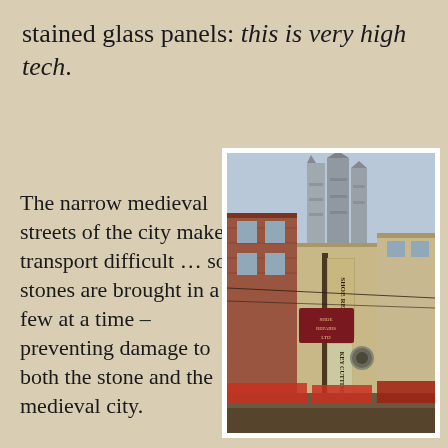stained glass panels: this is very high tech.
The narrow medieval streets of the city make transport difficult … so stones are brought in a few at a time – preventing damage to both the stone and the medieval city.
[Figure (photo): A narrow medieval street scene with shop signs including 'Shoe Repairs' and 'Key Cutting', a GAP store sign, and Canterbury Cathedral towers visible in the background above the buildings.]